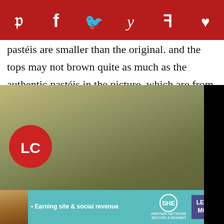[Figure (other): Red social sharing bar with icons for Pinterest, Facebook, Twitter, Yummly, Flipboard, and heart/save]
pastéis are smaller than the original. and the tops may not brown quite as much as the authentic pastéis in the picture, which are from the confeitaria. Still, that hasn't stopped the flood of rave reviews below. The secrets to making spectacular authentic Portuguese custard tarts at home are frequently cited.
[Figure (screenshot): A blurred olive/green photo background with LC badge logo (red circle with white LC letters), overlaid by a black video player showing 'Loading ad' text, a loading spinner, and playback controls (pause, expand, mute). An X close button appears at bottom right.]
[Figure (other): Teal/turquoise advertisement bar: woman photo on left, 'Earning site & social revenue' text, SHE Media Partner Network logo, and 'LEARN MORE' button in purple/navy.]